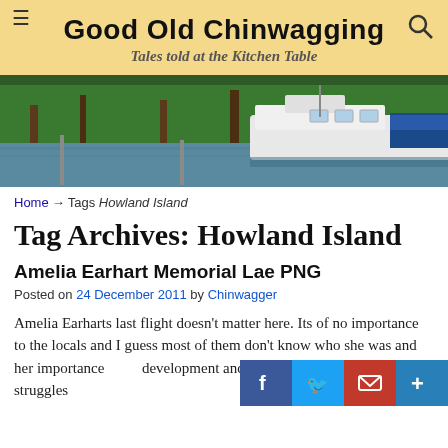Good Old Chinwagging — Tales told at the Kitchen Table
[Figure (photo): A waterfront scene with lush green trees and white boats moored alongside a dock.]
Home → Tags Howland Island
Tag Archives: Howland Island
Amelia Earhart Memorial Lae PNG
Posted on 24 December 2011 by Chinwagger
Amelia Earharts last flight doesn't matter here. Its of no importance to the locals and I guess most of them don't know who she was and her importanc[e] [to] [the] development and modern western wo[men]. [The] struggles